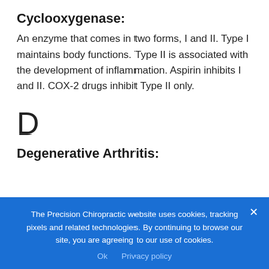Cyclooxygenase:
An enzyme that comes in two forms, I and II. Type I maintains body functions. Type II is associated with the development of inflammation. Aspirin inhibits I and II. COX-2 drugs inhibit Type II only.
D
Degenerative Arthritis:
The Precision Chiropractic website uses cookies, tracking pixels and related technologies. By continuing to browse our site, you are agreeing to our use of cookies.